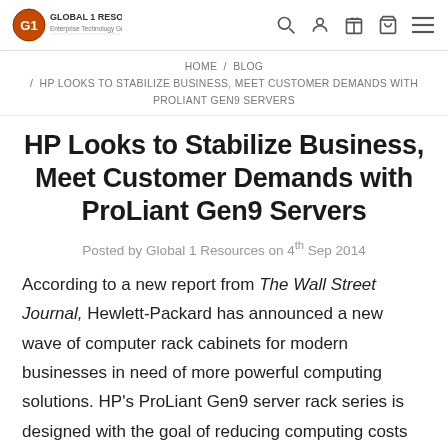Global 1 Resources logo and navigation icons
HOME / BLOG / HP LOOKS TO STABILIZE BUSINESS, MEET CUSTOMER DEMANDS WITH PROLIANT GEN9 SERVERS
HP Looks to Stabilize Business, Meet Customer Demands with ProLiant Gen9 Servers
Posted by Global 1 Resources on 4th Sep 2014
According to a new report from The Wall Street Journal, Hewlett-Packard has announced a new wave of computer rack cabinets for modern businesses in need of more powerful computing solutions. HP's ProLiant Gen9 server rack series is designed with the goal of reducing computing costs for commercial users; increasing the speed with which high end IT services can be delivered;